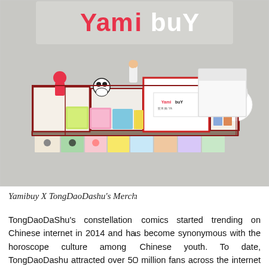[Figure (photo): Photo of a display shelf with Yamibuy branded merchandise, including various colorful toy figurines, character boxes, and branded packaging. A illuminated 'YamibuyY' logo sign appears on the wall behind the display. A large Yamibuy branded box is visible in the center.]
Yamibuy X TongDaoDashu's Merch
TongDaoDaShu's constellation comics started trending on Chinese internet in 2014 and has become synonymous with the horoscope culture among Chinese youth. To date, TongDaoDashu attracted over 50 million fans across the internet with his ingenious content and unique illustration style. The influencer turned brand quickly expanded into derivate products, entertainment, retail, and anime has